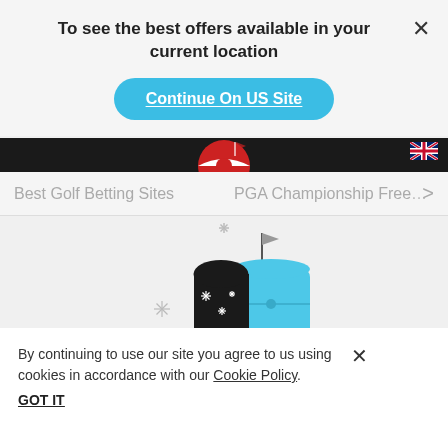To see the best offers available in your current location
Continue On US Site
Best Golf Betting Sites
PGA Championship Free
[Figure (illustration): Mailbox illustration with a black capsule/pill shape and a blue mailbox body with a small flag on top, surrounded by sparkle star shapes on a light grey background]
By continuing to use our site you agree to us using cookies in accordance with our Cookie Policy.
GOT IT
S
In
e Bets,